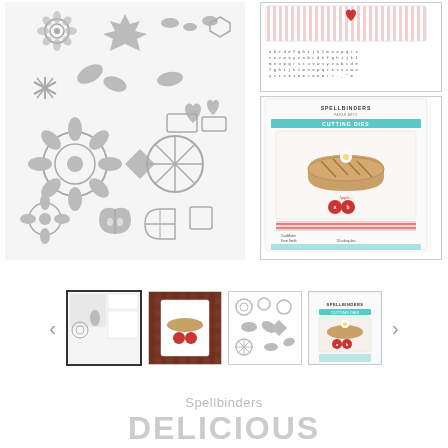[Figure (photo): Main product image left: gray die cuts showing flowers, leaves, apples, citrus slices, and various shapes on light gray background]
[Figure (photo): Top right: Spellbinders product card top portion showing alphabet stamp set with red and white striped design]
[Figure (photo): Bottom right: Spellbinders cutting dies package showing apple pie card design]
[Figure (photo): Thumbnail 1 (active/selected): composite of die cuts and package images]
[Figure (photo): Thumbnail 2: handmade card with apple pie design on plaid background]
[Figure (photo): Thumbnail 3: gray die cut shapes arranged on white background]
[Figure (photo): Thumbnail 4: Spellbinders package showing apple pie card]
Spellbinders
DELICIOUS